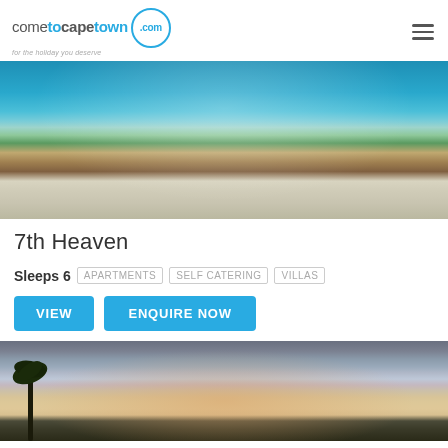cometocapetown.com - for the holiday you deserve
[Figure (photo): Rooftop terrace with outdoor furniture, sun loungers, coffee table and ocean view in the background under bright sky]
7th Heaven
Sleeps 6  APARTMENTS  SELF CATERING  VILLAS
VIEW  ENQUIRE NOW
[Figure (photo): Coastal sunset scene with dramatic cloudy sky in purple and orange hues, palm tree silhouette in foreground]